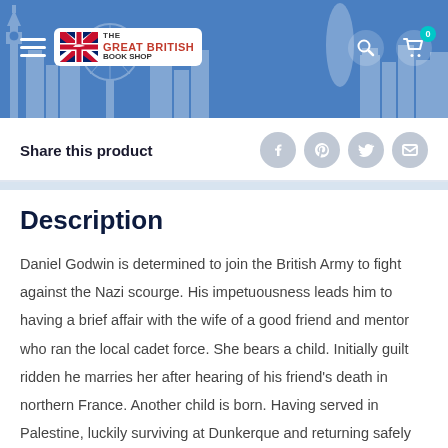[Figure (logo): The Great British Book Shop header banner with blue background, city skyline silhouette, hamburger menu icon, logo badge with Union Jack flag, search icon, and cart icon showing 0 items]
Share this product
Description
Daniel Godwin is determined to join the British Army to fight against the Nazi scourge. His impetuousness leads him to having a brief affair with the wife of a good friend and mentor who ran the local cadet force. She bears a child. Initially guilt ridden he marries her after hearing of his friend's death in northern France. Another child is born. Having served in Palestine, luckily surviving at Dunkerque and returning safely from North Africa he joins the 1st Airborne battalion whose mission was to take the bridge at Arnhem. Shortly before